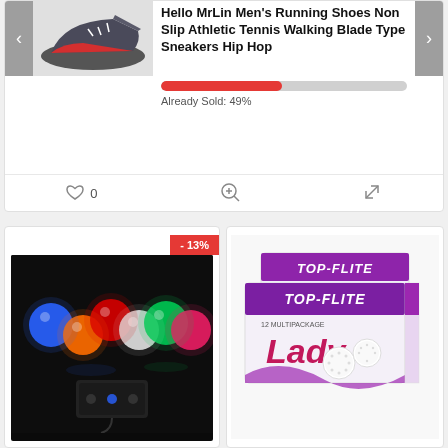[Figure (photo): Running shoe product image with dark blue/gray color and red accents]
Hello MrLin Men's Running Shoes Non Slip Athletic Tennis Walking Blade Type Sneakers Hip Hop
[Figure (infographic): Red progress bar showing Already Sold: 49%]
Already Sold: 49%
[Figure (photo): Colorful LED light balls product image on black background]
- 13%
[Figure (photo): Top-Flite Lady golf balls product boxes in pink/purple packaging]